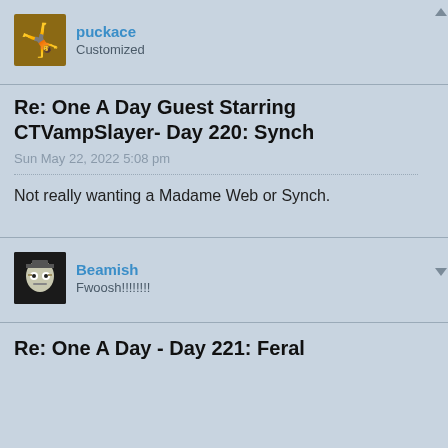[Figure (other): User avatar for puckace: flexing muscle emoji]
puckace
Customized
Re: One A Day Guest Starring CTVampSlayer- Day 220: Synch
Sun May 22, 2022 5:08 pm
Not really wanting a Madame Web or Synch.
[Figure (photo): User avatar for Beamish: Frankenstein monster face]
Beamish
Fwoosh!!!!!!!!
Re: One A Day - Day 221: Feral